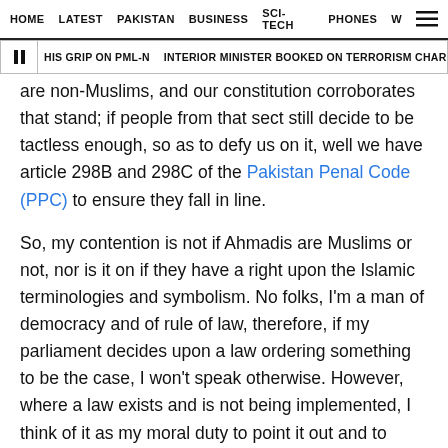HOME  LATEST  PAKISTAN  BUSINESS  SCI-TECH  PHONES  W  ☰
‖ HIS GRIP ON PML-N 🔴 INTERIOR MINISTER BOOKED ON TERRORISM CHARGES 🔴
are non-Muslims, and our constitution corroborates that stand; if people from that sect still decide to be tactless enough, so as to defy us on it, well we have article 298B and 298C of the Pakistan Penal Code (PPC) to ensure they fall in line.
So, my contention is not if Ahmadis are Muslims or not, nor is it on if they have a right upon the Islamic terminologies and symbolism. No folks, I'm a man of democracy and of rule of law, therefore, if my parliament decides upon a law ordering something to be the case, I won't speak otherwise. However, where a law exists and is not being implemented, I think of it as my moral duty to point it out and to request the authorities concerned to adhere to it.